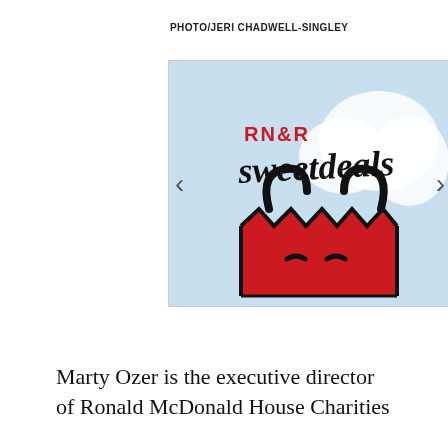PHOTO/JERI CHADWELL-SINGLEY
[Figure (logo): RN&R Sweet Deals advertisement logo — cartoon red shopping bag with zigzag teeth and frowning face on light blue background, with 'RN&R sweetdeals' text in red and black script]
Marty Ozer is the executive director of Ronald McDonald House Charities